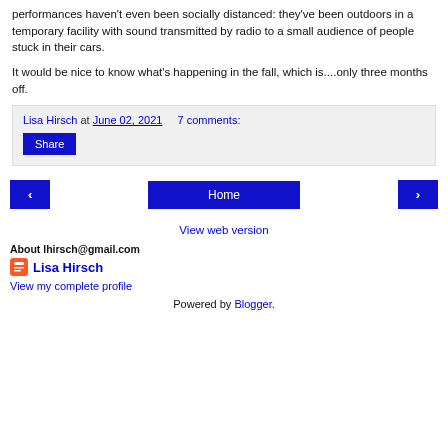performances haven't even been socially distanced: they've been outdoors in a temporary facility with sound transmitted by radio to a small audience of people stuck in their cars.

It would be nice to know what's happening in the fall, which is....only three months off.
Lisa Hirsch at June 02, 2021   7 comments:
Share
‹ | Home | ›
View web version
About lhirsch@gmail.com
Lisa Hirsch
View my complete profile
Powered by Blogger.